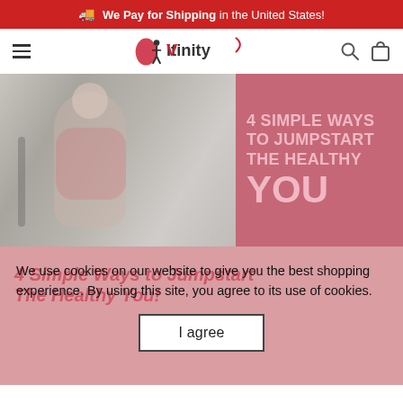🚚 We Pay for Shipping in the United States!
[Figure (logo): Vitinity logo with red/pink droplet and person figure, brand name 'Vitinity']
[Figure (photo): Hero image split: left side shows a woman at the gym smiling holding exercise equipment; right side has pink-red overlay with bold text '4 SIMPLE WAYS TO JUMPSTART THE HEALTHY YOU']
4 Simple Ways to Jumpstart The Healthy You!
We use cookies on our website to give you the best shopping experience. By using this site, you agree to its use of cookies.
I agree